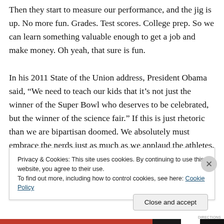Then they start to measure our performance, and the jig is up. No more fun. Grades. Test scores. College prep. So we can learn something valuable enough to get a job and make money. Oh yeah, that sure is fun.

In his 2011 State of the Union address, President Obama said, “We need to teach our kids that it’s not just the winner of the Super Bowl who deserves to be celebrated, but the winner of the science fair.” If this is just rhetoric than we are bipartisan doomed. We absolutely must embrace the nerds just as much as we applaud the athletes, not because they will all grow up to be Bill Gates
Privacy & Cookies: This site uses cookies. By continuing to use this website, you agree to their use.
To find out more, including how to control cookies, see here: Cookie Policy
Close and accept